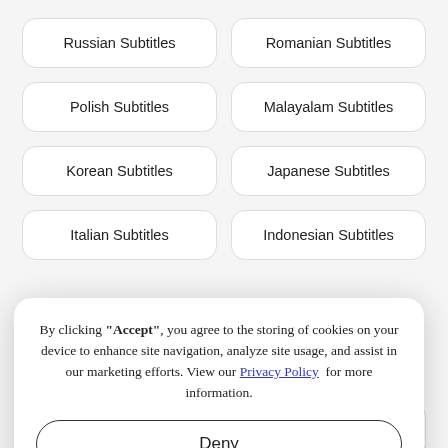Russian Subtitles
Romanian Subtitles
Polish Subtitles
Malayalam Subtitles
Korean Subtitles
Japanese Subtitles
Italian Subtitles
Indonesian Subtitles
By clicking "Accept", you agree to the storing of cookies on your device to enhance site navigation, analyze site usage, and assist in our marketing efforts. View our Privacy Policy for more information.
Deny
Accept
Czech Subtitles
Video Caption Generator